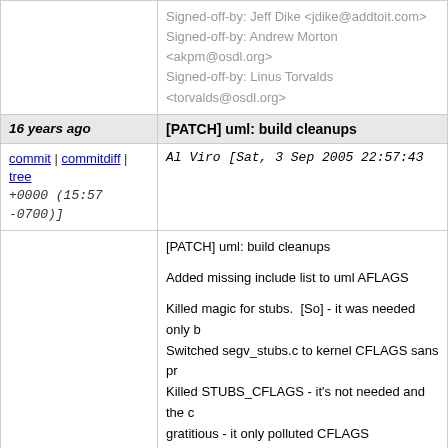Signed-off-by: Jeff Dike <jdike@addtoit.com>
Signed-off-by: Andrew Morton <akpm@osdl.org>
Signed-off-by: Linus Torvalds <torvalds@osdl.org>
16 years ago
[PATCH] uml: build cleanups
commit | commitdiff | tree
+0000 (15:57 -0700)
Al Viro [Sat, 3 Sep 2005 22:57:43 +0000 (15:57 -0700)]
[PATCH] uml: build cleanups

Added missing include list to uml AFLAGS

Killed magic for stubs. [So] - it was needed only b
Switched segv_stubs.c to kernel CFLAGS sans pr
Killed STUBS_CFLAGS - it's not needed and the c
gratitious - it only polluted CFLAGS
Signed-off-by: Al Viro <viro@parcelfarce.linux.theplanet.co.uk>
Signed-off-by: Jeff Dike <jdike@addtoit.com>
Signed-off-by: Andrew Morton <akpm@osdl.org>
Signed-off-by: Linus Torvalds <torvalds@osdl.org>
16 years ago
[PATCH] uml: system call path cleanup